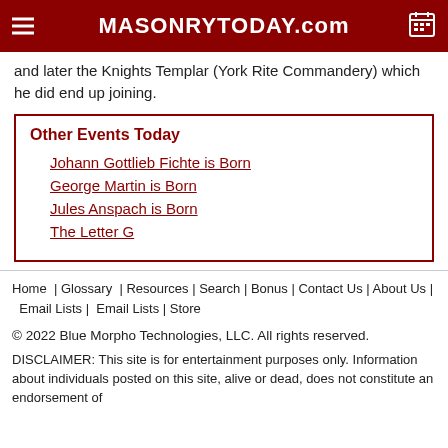MASONRYTODAY.com
and later the Knights Templar (York Rite Commandery) which he did end up joining.
Other Events Today
Johann Gottlieb Fichte is Born
George Martin is Born
Jules Anspach is Born
The Letter G
Home | Glossary | Resources | Search | Bonus | Contact Us | About Us | Email Lists | Email Lists | Store
© 2022 Blue Morpho Technologies, LLC. All rights reserved.
DISCLAIMER: This site is for entertainment purposes only. Information about individuals posted on this site, alive or dead, does not constitute an endorsement of